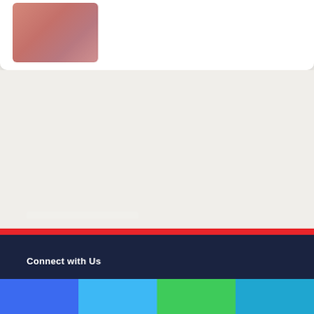[Figure (photo): Partial top-of-page card with a thumbnail photo of a person on a white card background]
Connect with Us
[Figure (infographic): Footer social media buttons in blue, light blue, green, and teal colors]